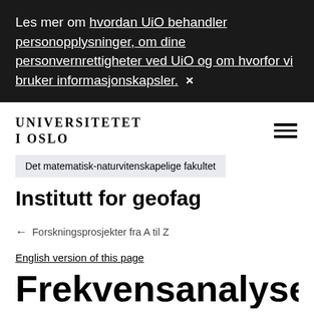Les mer om hvordan UiO behandler personopplysninger, om dine personvernrettigheter ved UiO og om hvorfor vi bruker informasjonskapsler.  ×
[Figure (logo): Universitetet i Oslo logo text: UNIVERSITETET I OSLO in serif bold uppercase]
[Figure (other): Hamburger menu icon with three horizontal lines]
Det matematisk-naturvitenskapelige fakultet
Institutt for geofag
← Forskningsprosjekter fra A til Z
English version of this page
Frekvensanalyse av